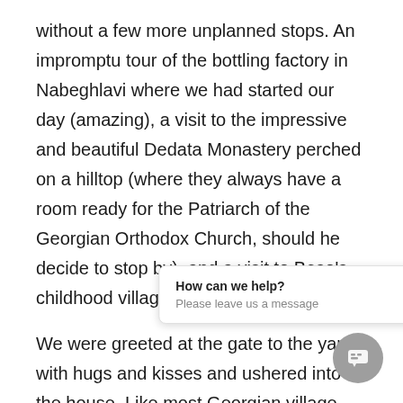without a few more unplanned stops. An impromptu tour of the bottling factory in Nabeghlavi where we had started our day (amazing), a visit to the impressive and beautiful Dedata Monastery perched on a hilltop (where they always have a room ready for the Patriarch of the Georgian Orthodox Church, should he decide to stop by), and a visit to Beso's childhood village home for dinner.
We were greeted at the gate to the yard with hugs and kisses and ushered into the house. Like most Georgian village homes, this one was spacious and largely untouched by modern conveniences, save a satellite dish streaming hundreds of Turkish and Russian television channels. We sat near a wood-burning [stove, warm] from years of dual us[e, and] [the women scurried around in the kitchen. Beso emerged
[Figure (screenshot): Chat popup overlay with text 'How can we help?' and 'Please leave us a message', plus a grey circular chat button icon in the bottom right corner]